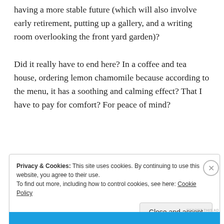having a more stable future (which will also involve early retirement, putting up a gallery, and a writing room overlooking the front yard garden)?

Did it really have to end here? In a coffee and tea house, ordering lemon chamomile because according to the menu, it has a soothing and calming effect? That I have to pay for comfort? For peace of mind?
[Figure (other): Advertisement banner with orange-pink to lavender gradient]
Privacy & Cookies: This site uses cookies. By continuing to use this website, you agree to their use.
To find out more, including how to control cookies, see here: Cookie Policy

Close and accept